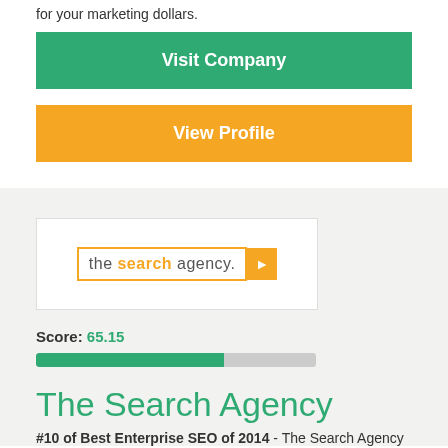for your marketing dollars.
Visit Company
View Profile
[Figure (logo): The Search Agency logo — orange bordered text box with 'the search agency.' text and orange arrow]
Score: 65.15
The Search Agency
#10 of Best Enterprise SEO of 2014 - The Search Agency